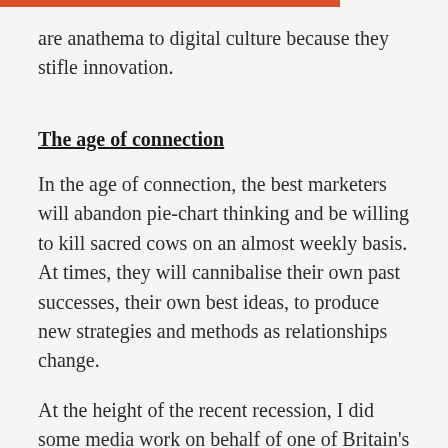are anathema to digital culture because they stifle innovation.
The age of connection
In the age of connection, the best marketers will abandon pie-chart thinking and be willing to kill sacred cows on an almost weekly basis. At times, they will cannibalise their own past successes, their own best ideas, to produce new strategies and methods as relationships change.
At the height of the recent recession, I did some media work on behalf of one of Britain's leading healthcare providers. A